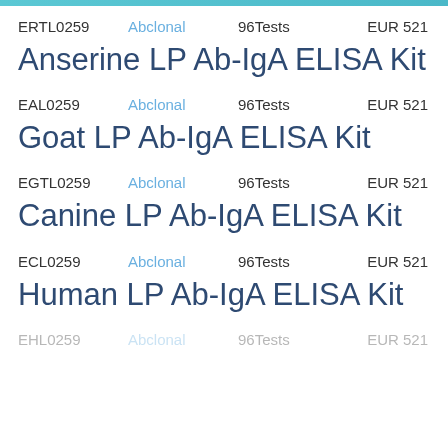ERTL0259   Abclonal   96Tests   EUR 521
Anserine LP Ab-IgA ELISA Kit
EAL0259   Abclonal   96Tests   EUR 521
Goat LP Ab-IgA ELISA Kit
EGTL0259   Abclonal   96Tests   EUR 521
Canine LP Ab-IgA ELISA Kit
ECL0259   Abclonal   96Tests   EUR 521
Human LP Ab-IgA ELISA Kit
EHL0259   Abclonal   96Tests   EUR 521